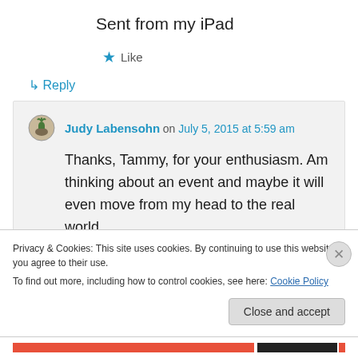Sent from my iPad
★ Like
↵ Reply
Judy Labensohn on July 5, 2015 at 5:59 am
Thanks, Tammy, for your enthusiasm. Am thinking about an event and maybe it will even move from my head to the real world.
Privacy & Cookies: This site uses cookies. By continuing to use this website, you agree to their use.
To find out more, including how to control cookies, see here: Cookie Policy
Close and accept